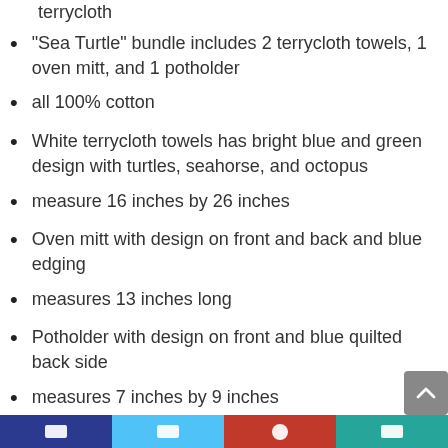terrycloth
“Sea Turtle” bundle includes 2 terrycloth towels, 1 oven mitt, and 1 potholder
all 100% cotton
White terrycloth towels has bright blue and green design with turtles, seahorse, and octopus
measure 16 inches by 26 inches
Oven mitt with design on front and back and blue edging
measures 13 inches long
Potholder with design on front and blue quilted back side
measures 7 inches by 9 inches
A wonderful gift for turtle and sea lovers. And a great addition to any kitchen!